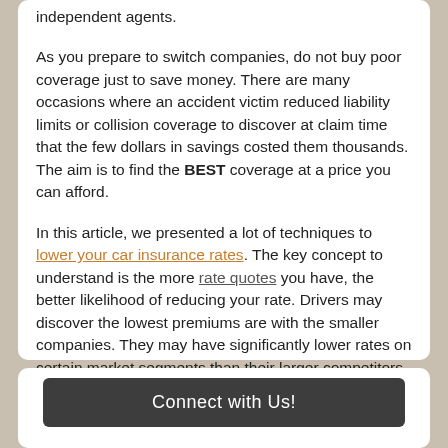independent agents.
As you prepare to switch companies, do not buy poor coverage just to save money. There are many occasions where an accident victim reduced liability limits or collision coverage to discover at claim time that the few dollars in savings costed them thousands. The aim is to find the BEST coverage at a price you can afford.
In this article, we presented a lot of techniques to lower your car insurance rates. The key concept to understand is the more rate quotes you have, the better likelihood of reducing your rate. Drivers may discover the lowest premiums are with the smaller companies. They may have significantly lower rates on certain market segments than their larger competitors like Progressive and GEICO.
Connect with Us!